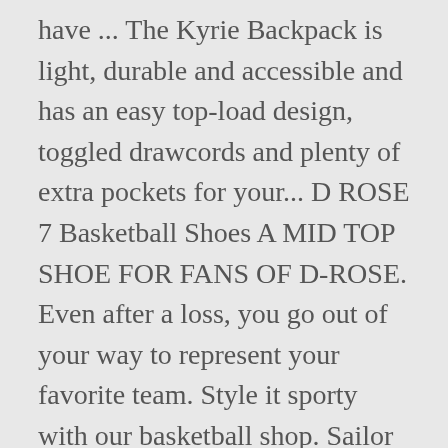have ... The Kyrie Backpack is light, durable and accessible and has an easy top-load design, toggled drawcords and plenty of extra pockets for your... D ROSE 7 Basketball Shoes A MID TOP SHOE FOR FANS OF D-ROSE. Even after a loss, you go out of your way to represent your favorite team. Style it sporty with our basketball shop. Sailor Jerry Official Jerry's Girls T-Shirt Men's White . Age Range. Basketball Hoops. Sorry, there was a problem saving your cookie preferences. More Colors Available. Elasticated and drawstring waist Crafted with sweat-wicking mesh fabric, it's made for both playing ball and wearing off court.Dri-FIT technology helps keep you dry, comfortable and focused Lightweight, tightly